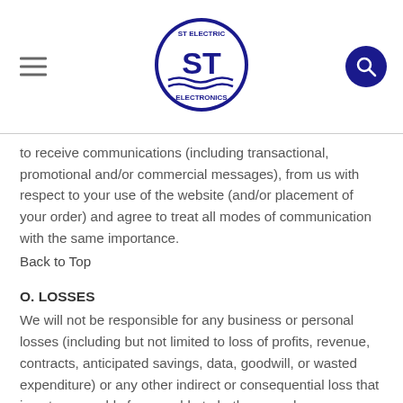ST Electric Electronics logo with hamburger menu and search icon
to receive communications (including transactional, promotional and/or commercial messages), from us with respect to your use of the website (and/or placement of your order) and agree to treat all modes of communication with the same importance.
Back to Top
O. LOSSES
We will not be responsible for any business or personal losses (including but not limited to loss of profits, revenue, contracts, anticipated savings, data, goodwill, or wasted expenditure) or any other indirect or consequential loss that is not reasonably foreseeable to both you and